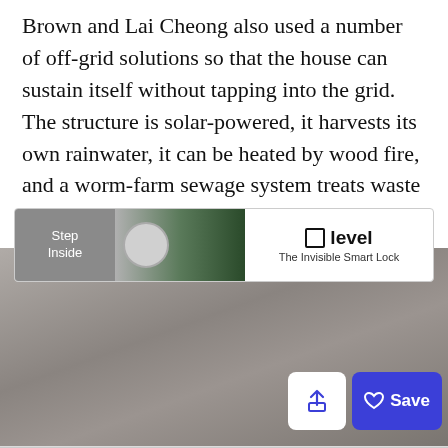Brown and Lai Cheong also used a number of off-grid solutions so that the house can sustain itself without tapping into the grid. The structure is solar-powered, it harvests its own rainwater, it can be heated by wood fire, and a worm-farm sewage system treats waste on-site.
[Figure (screenshot): Interior photo of a room with light grey walls and ceiling, overlaid with a white share button and a blue Save button with heart icon in the lower right corner.]
[Figure (screenshot): Advertisement banner for 'level - The Invisible Smart Lock' showing a door lock image on the left with 'Step Inside' text, and the level brand logo and tagline on the right.]